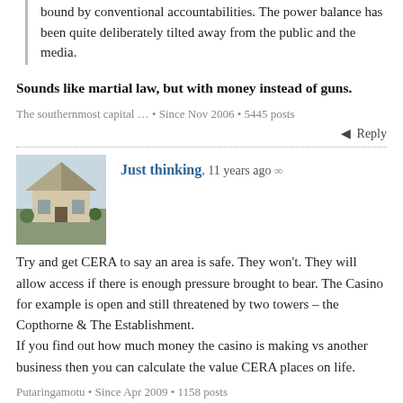bound by conventional accountabilities. The power balance has been quite deliberately tilted away from the public and the media.
Sounds like martial law, but with money instead of guns.
The southernmost capital … • Since Nov 2006 • 5445 posts
Reply
[Figure (photo): Avatar image showing a building with a distinctive angular roof]
Just thinking, 11 years ago ∞
Try and get CERA to say an area is safe. They won't. They will allow access if there is enough pressure brought to bear. The Casino for example is open and still threatened by two towers – the Copthorne & The Establishment.
If you find out how much money the casino is making vs another business then you can calculate the value CERA places on life.
Putaringamotu • Since Apr 2009 • 1158 posts